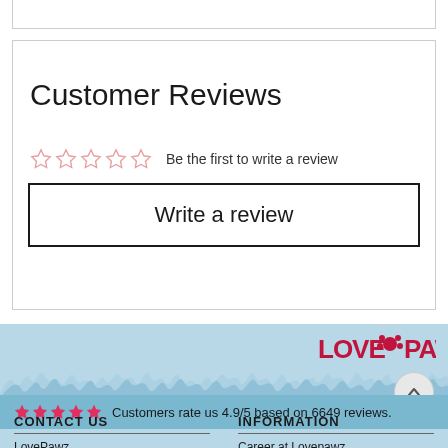Customer Reviews
☆☆☆☆☆  Be the first to write a review
Write a review
[Figure (logo): LovePawz logo in pink/red text with paw print]
Customers rate us 4.9/5 based on 6649 reviews.
CONTACT US
INFORMATION
LovePawz
Career at Lovepawz